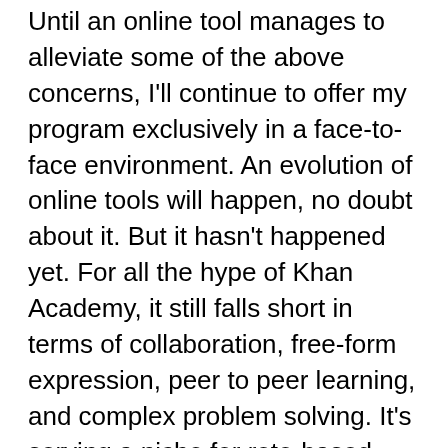Until an online tool manages to alleviate some of the above concerns, I'll continue to offer my program exclusively in a face-to-face environment. An evolution of online tools will happen, no doubt about it. But it hasn't happened yet. For all the hype of Khan Academy, it still falls short in terms of collaboration, free-form expression, peer to peer learning, and complex problem solving. It's serving a niche for rote-based fact dissemination, allowing us to eliminate most basic introductory courses (and I'm all for getting rid of the giant, anonymous, teacher-doesn't-want-to-be-there, taught-by-graduate-students courses at most universities). But there's so much more we can do. Presently, all of the component parts of online education are lacking: camera hardware, network latency, software, pedagogy, and so-on. The internet is a